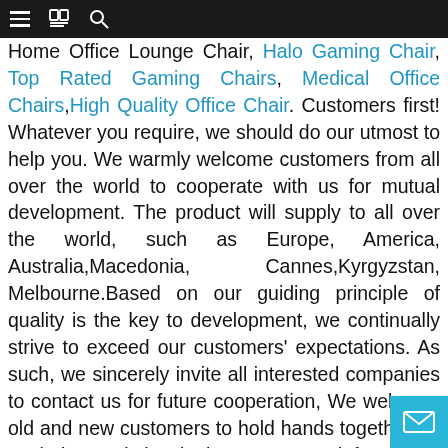Navigation bar with menu, book, and search icons
Home Office Lounge Chair, Halo Gaming Chair, Top Rated Gaming Chairs, Medical Office Chairs, High Quality Office Chair. Customers first! Whatever you require, we should do our utmost to help you. We warmly welcome customers from all over the world to cooperate with us for mutual development. The product will supply to all over the world, such as Europe, America, Australia,Macedonia, Cannes,Kyrgyzstan, Melbourne.Based on our guiding principle of quality is the key to development, we continually strive to exceed our customers' expectations. As such, we sincerely invite all interested companies to contact us for future cooperation, We welcome old and new customers to hold hands together for exploring and developing; For more information, please feel free to contact us. Thanks. Advanced equipment, strict quality control, customer-orientation service, initiative summary and improvement of defects and extensive industry experience enable us to guarantee more customer satisfaction and reputation which, in return, brings us orders and benefits. If you are interested in any of our products, please feel free to contact us. Inquiry or visit